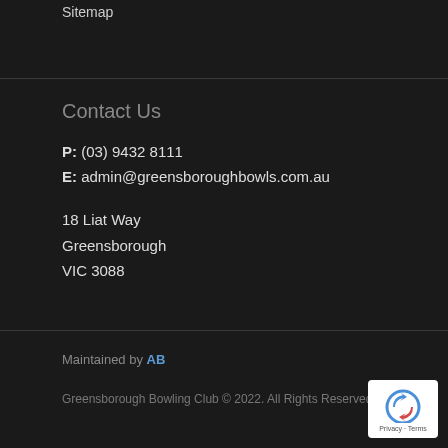Sitemap
Contact Us
P: (03) 9432 8111
E: admin@greensboroughbowls.com.au
18 Liat Way
Greensborough
VIC 3088
Maintained by AB
Greensborough Bowling Club © 2022. All Rights Reserved.
[Figure (logo): reCAPTCHA badge with Privacy - Terms text]